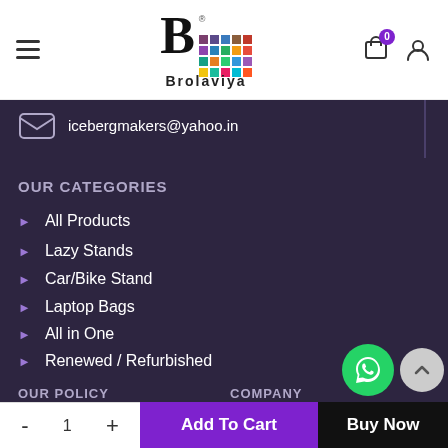Brolaviya — hamburger menu, logo, cart (0), user icon
icebergmakers@yahoo.in
OUR CATEGORIES
All Products
Lazy Stands
Car/Bike Stand
Laptop Bags
All in One
Renewed / Refurbished
OUR POLICY
COMPANY
Order, Return & Refund Policy
About Us
Contact Us